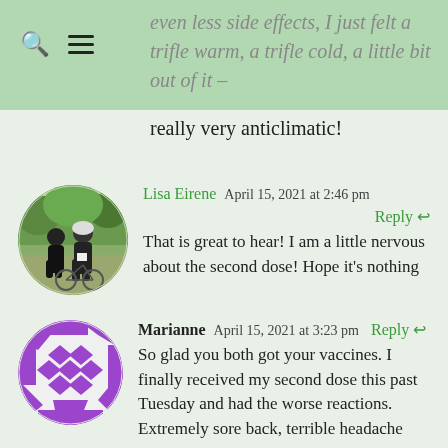even less side effects, I just felt a trifle warm, a trifle cold, a little bit out of it –
really very anticlimatic!
[Figure (photo): Circular avatar photo of two people at a cycling event, wearing black cycling gear, outdoors with trees in background]
Lisa Eirene  April 15, 2021 at 2:46 pm
Reply
That is great to hear! I am a little nervous about the second dose! Hope it's nothing
[Figure (illustration): Circular purple geometric/abstract avatar icon with diamond and angular patterns on white/grey background]
Marianne  April 15, 2021 at 3:23 pm  Reply
So glad you both got your vaccines. I finally received my second dose this past Tuesday and had the worse reactions. Extremely sore back, terrible headache